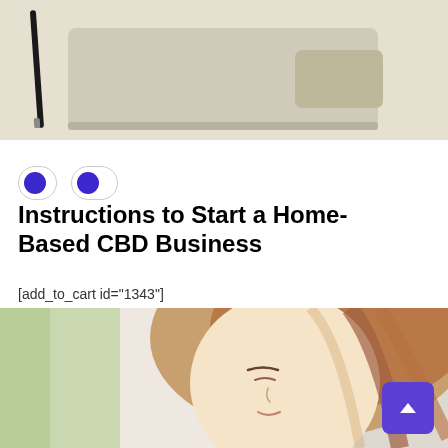[Figure (photo): Top portion of a laptop computer on a light beige/cream surface with a pen/pencil beside it, viewed from above.]
[Figure (infographic): Two toggle/pill UI buttons with purple dots, indicating interactive toggle switches.]
Instructions to Start a Home-Based CBD Business
[add_to_cart id="1343"]
[Figure (photo): A woman with long hair and eyes closed, appearing relaxed, with a green blurred background on the left side.]